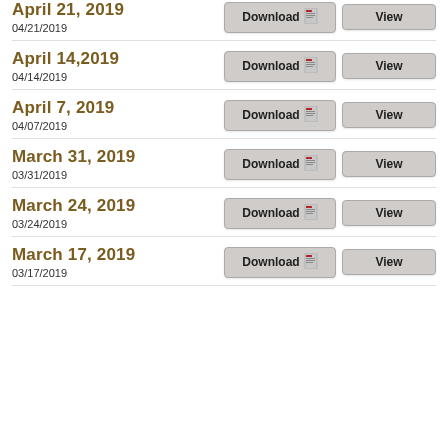April 21, 2019
04/21/2019
April 14, 2019
04/14/2019
April 7, 2019
04/07/2019
March 31, 2019
03/31/2019
March 24, 2019
03/24/2019
March 17, 2019
03/17/2019